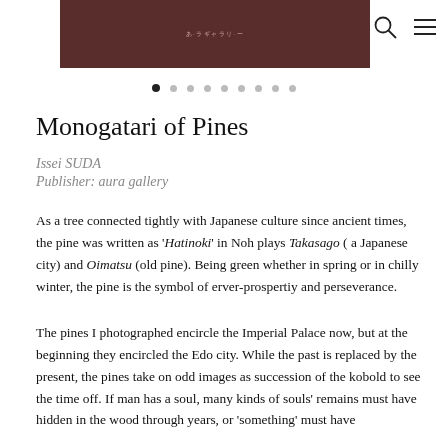[Figure (photo): Book cover image shown partially at top, dark brown/maroon color with small light text in the center]
[Figure (other): Navigation icons: search (magnifying glass) and menu (hamburger lines) in top right corner]
[Figure (other): Carousel dot indicators: 9 dots, first one filled/active, rest are light gray]
Monogatari of Pines
Issei SUDA
Publisher: aura gallery
As a tree connected tightly with Japanese culture since ancient times, the pine was written as 'Hatinoki' in Noh plays Takasago ( a Japanese city) and Oimatsu (old pine). Being green whether in spring or in chilly winter, the pine is the symbol of erver-prospertiy and perseverance.
The pines I photographed encircle the Imperial Palace now, but at the beginning they encircled the Edo city. While the past is replaced by the present, the pines take on odd images as succession of the kobold to see the time off. If man has a soul, many kinds of souls' remains must have hidden in the wood through years, or 'something' must have